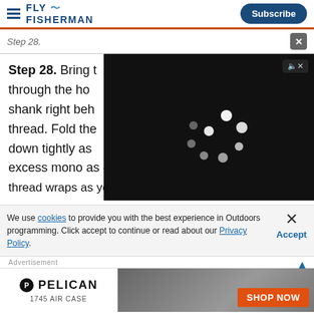FLY FISHERMAN | Subscribe
Step 28.
Step 28. Bring t[he mono tag end] through the ho[ok] shank right beh[ind the] thread. Fold the [mono] down tightly as [possible, then trim the] excess mono as close to the thread wraps as you can.
[Figure (screenshot): Video player overlay showing loading spinner dots on black background with playback controls: pause, rewind, fast-forward, 00:00 / 39:34 timestamp, mute, CC, settings, fullscreen buttons]
We use cookies to provide you with the best experience in Outdoors programming. Click accept to continue or read about our Privacy Policy.
[Figure (photo): Pelican 1745 Air Case advertisement banner with orange SHOP NOW button]